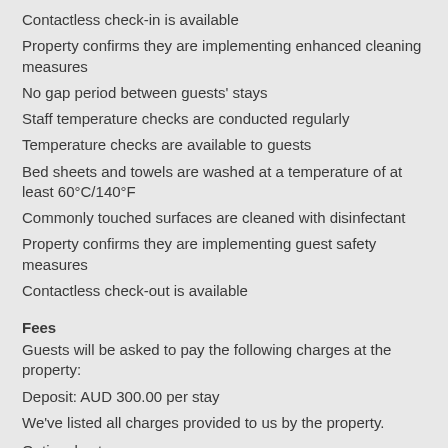Contactless check-in is available
Property confirms they are implementing enhanced cleaning measures
No gap period between guests' stays
Staff temperature checks are conducted regularly
Temperature checks are available to guests
Bed sheets and towels are washed at a temperature of at least 60°C/140°F
Commonly touched surfaces are cleaned with disinfectant
Property confirms they are implementing guest safety measures
Contactless check-out is available
Fees
Guests will be asked to pay the following charges at the property:
Deposit: AUD 300.00 per stay
We've listed all charges provided to us by the property.
Optional extras
The fees and deposits listed below will be charged at the time of service, check-in, or check-out.
Crib (infant bed) fee: AUD 10.0 per day